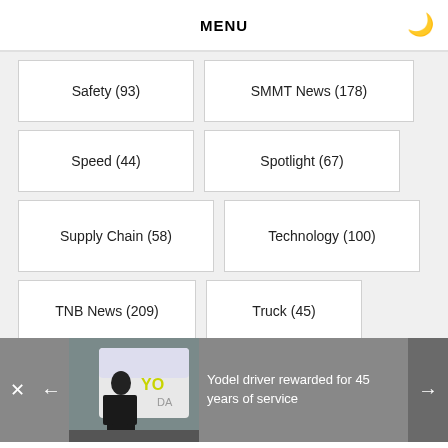MENU
Safety (93)
SMMT News (178)
Speed (44)
Spotlight (67)
Supply Chain (58)
Technology (100)
TNB News (209)
Truck (45)
UK Manufacturing (54)
[Figure (photo): Man in dark uniform standing in front of a Yodel delivery van]
Yodel driver rewarded for 45 years of service